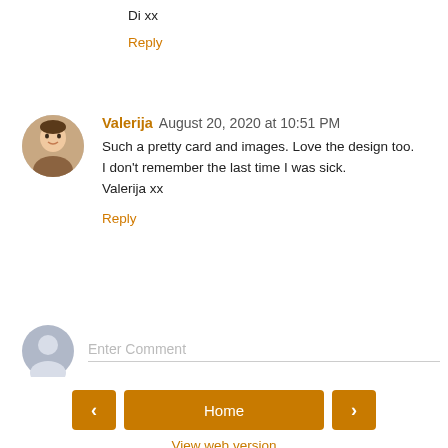Di xx
Reply
Valerija  August 20, 2020 at 10:51 PM
Such a pretty card and images. Love the design too.
I don't remember the last time I was sick.
Valerija xx
Reply
Enter Comment
Home
View web version
Powered by Blogger.